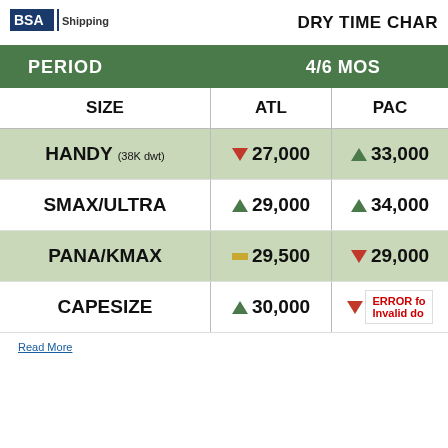| SIZE | ATL | PAC |
| --- | --- | --- |
| HANDY (38K dwt) | ▼ 27,000 | ▲ 33,000 |
| SMAX/ULTRA | ▲ 29,000 | ▲ 34,000 |
| PANA/KMAX | — 29,500 | ▼ 29,000 |
| CAPESIZE | ▲ 30,000 | ▼ ERROR |
Read More